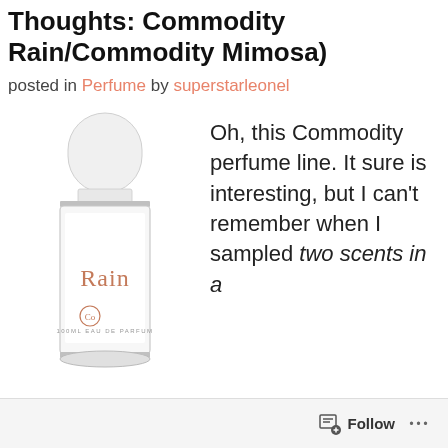Thoughts: Commodity Rain/Commodity Mimosa)
posted in Perfume by superstarleonel
[Figure (photo): A white cylindrical perfume bottle with a round glass base, labeled 'Rain' in terracotta/rose gold lettering, with 'Co' logo and '100ML EAU DE PARFUM' text at the bottom. The bottle has a white cap and silver rim.]
Oh, this Commodity perfume line. It sure is interesting, but I can't remember when I sampled two scents in a